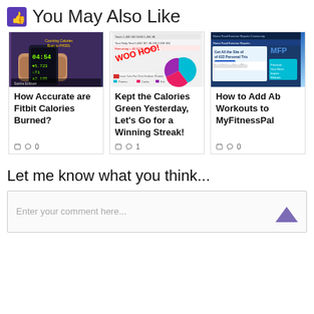👍 You May Also Like
[Figure (photo): Fitbit device on wrist showing calorie burn data]
[Figure (screenshot): MyFitnessPal calories tracking screen with pie chart showing green calories]
[Figure (screenshot): MyFitnessPal website screenshot]
How Accurate are Fitbit Calories Burned?
🗓 💬 0
Kept the Calories Green Yesterday, Let's Go for a Winning Streak!
🗓 💬 1
How to Add Ab Workouts to MyFitnessPal
🗓 💬 0
Let me know what you think...
Enter your comment here...